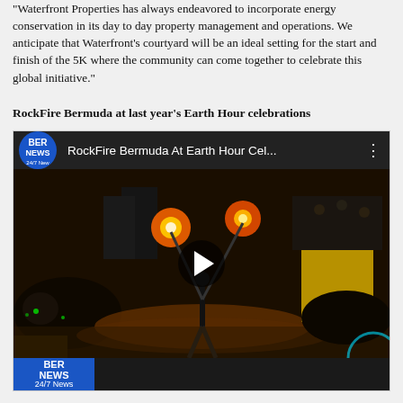"Waterfront Properties has always endeavored to incorporate energy conservation in its day to day property management and operations. We anticipate that Waterfront's courtyard will be an ideal setting for the start and finish of the 5K where the community can come together to celebrate this global initiative."
RockFire Bermuda at last year's Earth Hour celebrations
[Figure (screenshot): Embedded YouTube video thumbnail showing RockFire Bermuda At Earth Hour Cel... with BER NEWS 24/7 News logo, night-time fire performance scene with play button overlay]